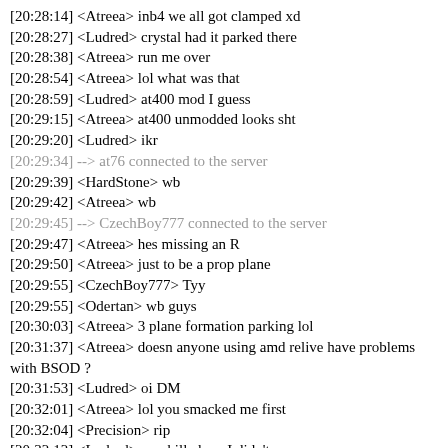[20:28:14] <Atreea> inb4 we all got clamped xd
[20:28:27] <Ludred> crystal had it parked there
[20:28:38] <Atreea> run me over
[20:28:54] <Atreea> lol what was that
[20:28:59] <Ludred> at400 mod I guess
[20:29:15] <Atreea> at400 unmodded looks sht
[20:29:20] <Ludred> ikr
[20:29:34] --> at76 connected to the server
[20:29:39] <HardStone> wb
[20:29:42] <Atreea> wb
[20:29:45] --> CzechBoy777 connected to the server
[20:29:47] <Atreea> hes missing an R
[20:29:50] <Atreea> just to be a prop plane
[20:29:55] <CzechBoy777> Tyy
[20:29:55] <Odertan> wb guys
[20:30:03] <Atreea> 3 plane formation parking lol
[20:31:37] <Atreea> doesn anyone using amd relive have problems with BSOD ?
[20:31:53] <Ludred> oi DM
[20:32:01] <Atreea> lol you smacked me first
[20:32:04] <Precision> rip
[20:32:12] <Ludred> you killed me I didn't
[20:32:20] <Atreea> you left me with 1/10 health
[20:32:31] <Atreea> fuck off lotto
[20:32:33] <CzechBoy777> frick